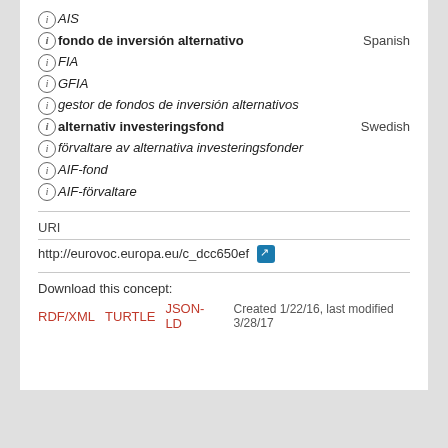ⓘ AIS
ⓘ fondo de inversión alternativo — Spanish
ⓘ FIA
ⓘ GFIA
ⓘ gestor de fondos de inversión alternativos
ⓘ alternativ investeringsfond — Swedish
ⓘ förvaltare av alternativa investeringsfonder
ⓘ AIF-fond
ⓘ AIF-förvaltare
URI
http://eurovoc.europa.eu/c_dcc650ef
Download this concept:
RDF/XML TURTLE JSON-LD  Created 1/22/16, last modified 3/28/17